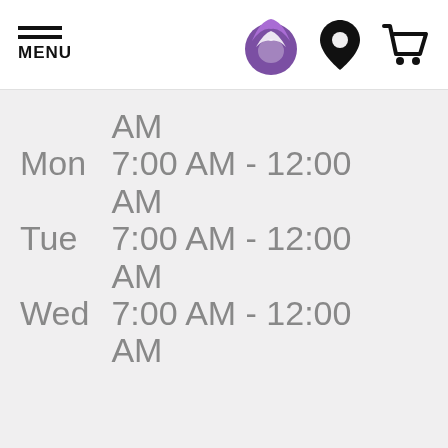MENU | Taco Bell logo | Location icon | Cart icon
|  | AM |
| --- | --- |
| Mon | 7:00 AM - 12:00 AM |
| Tue | 7:00 AM - 12:00 AM |
| Wed | 7:00 AM - 12:00 AM |